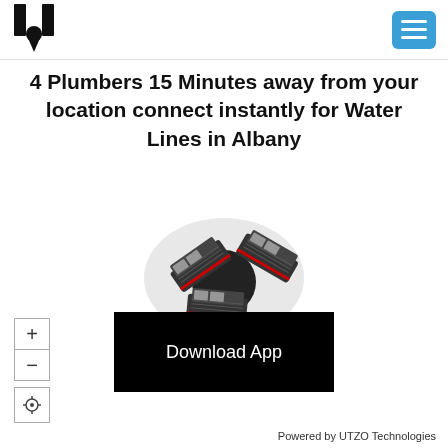[Figure (logo): UTZO U-shaped logo in black, top-left header]
[Figure (other): Blue rounded rectangle hamburger menu icon with three white horizontal lines, top-right header]
4 Plumbers 15 Minutes away from your location connect instantly for Water Lines in Albany
[Figure (illustration): Top-down view illustration of multiple service vans/trucks arranged in a circular cluster on a gray background]
[Figure (other): Black rectangular Download App button with white text]
[Figure (other): Map zoom controls: plus and minus buttons stacked, and a locate/crosshair button below]
Powered by UTZO Technologies